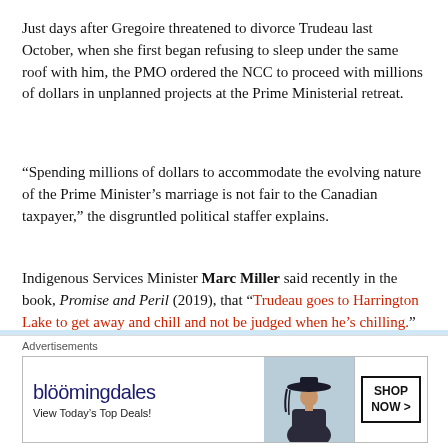Just days after Gregoire threatened to divorce Trudeau last October, when she first began refusing to sleep under the same roof with him, the PMO ordered the NCC to proceed with millions of dollars in unplanned projects at the Prime Ministerial retreat.
“Spending millions of dollars to accommodate the evolving nature of the Prime Minister’s marriage is not fair to the Canadian taxpayer,” the disgruntled political staffer explains.
Indigenous Services Minister Marc Miller said recently in the book, Promise and Peril (2019), that “Trudeau goes to Harrington Lake to get away and chill and not be judged when he’s chilling.”
[Figure (other): Light blue banner at the bottom of the article content, with a circular close (X) button on the right side.]
Advertisements
[Figure (other): Bloomingdales advertisement banner showing logo, 'View Today's Top Deals!' tagline, image of a woman in a hat, and a 'SHOP NOW >' button.]